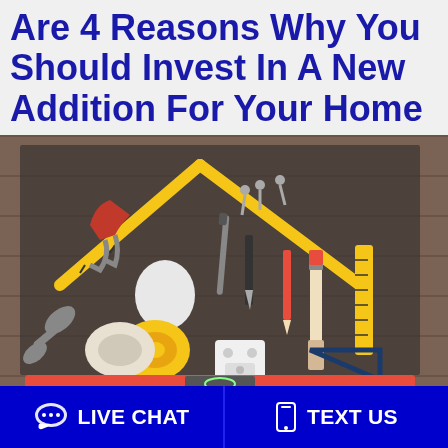Are 4 Reasons Why You Should Invest In A New Addition For Your Home
[Figure (photo): Flatlay of various home improvement tools arranged on a dark wood background in the shape of a house. Tools include a yellow folding ruler, pliers, a light bulb, a wrench, drill bit, tape measure, screws, a utility knife, paintbrush, pencil, yellow ruler, square/triangle, masking tape roll, electrical socket, level tool (red), and other construction tools.]
LIVE CHAT
TEXT US